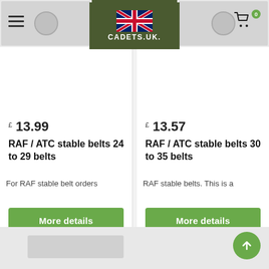CADETS.UK. — Navigation header with logo, hamburger menu, and cart
[Figure (screenshot): Product image for RAF / ATC stable belts 24 to 29 belts — belt segments on gray background]
£ 13.99
RAF / ATC stable belts 24 to 29 belts
For RAF stable belt orders
More details
[Figure (screenshot): Product image for RAF / ATC stable belts 30 to 35 belts — belt segments on gray background]
£ 13.57
RAF / ATC stable belts 30 to 35 belts
RAF stable belts. This is a
More details